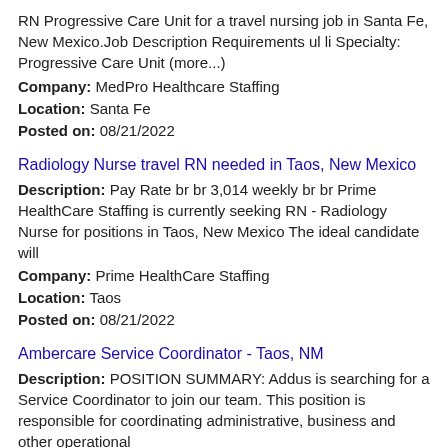RN Progressive Care Unit for a travel nursing job in Santa Fe, New Mexico.Job Description Requirements ul li Specialty: Progressive Care Unit (more...)
Company: MedPro Healthcare Staffing
Location: Santa Fe
Posted on: 08/21/2022
Radiology Nurse travel RN needed in Taos, New Mexico
Description: Pay Rate br br 3,014 weekly br br Prime HealthCare Staffing is currently seeking RN - Radiology Nurse for positions in Taos, New Mexico The ideal candidate will
Company: Prime HealthCare Staffing
Location: Taos
Posted on: 08/21/2022
Ambercare Service Coordinator - Taos, NM
Description: POSITION SUMMARY: Addus is searching for a Service Coordinator to join our team. This position is responsible for coordinating administrative, business and other operational
Company: Ambercare
Location: Taos
Posted on: 08/21/2022
Can You Help? Caregivers & HHAs Needed In Chemical